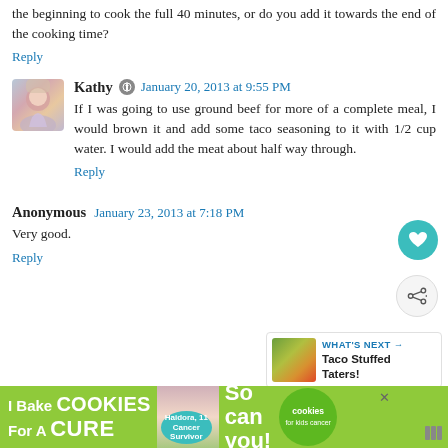the beginning to cook the full 40 minutes, or do you add it towards the end of the cooking time?
Reply
Kathy · January 20, 2013 at 9:55 PM
If I was going to use ground beef for more of a complete meal, I would brown it and add some taco seasoning to it with 1/2 cup water. I would add the meat about half way through.
Reply
Anonymous · January 23, 2013 at 7:18 PM
Very good.
Reply
[Figure (infographic): What's Next promotional box with image of Taco Stuffed Taters]
Anonymous · January 25, 2013 at 4:36 PM
[Figure (infographic): I Bake Cookies For A Cure advertisement banner with green background, person image, cookies for kids cancer logo]